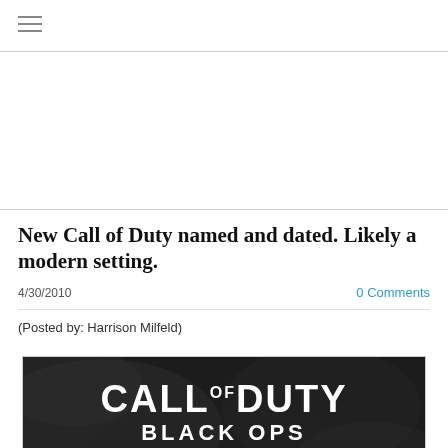≡
[Figure (other): Blank white advertisement area placeholder]
New Call of Duty named and dated. Likely a modern setting.
4/30/2010
0 Comments
(Posted by: Harrison Milfeld)
[Figure (photo): Call of Duty Black Ops promotional banner with dark smoky background, white bold text reading CALL OF DUTY BLACK OPS, and orange date text 11.09.10]